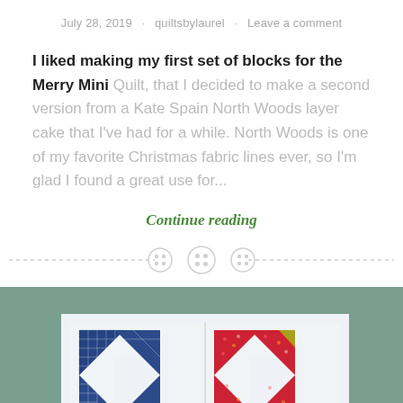July 28, 2019 · quiltsbylaurel · Leave a comment
I liked making my first set of blocks for the Merry Mini Quilt, that I decided to make a second version from a Kate Spain North Woods layer cake that I've had for a while. North Woods is one of my favorite Christmas fabric lines ever, so I'm glad I found a great use for...
Continue reading
[Figure (other): Decorative divider with three button icons and dashed lines on either side]
[Figure (photo): Photo of quilt blocks showing two star-pattern quilt blocks — one in navy blue plaid fabric and one in red floral fabric — set against a gray background fabric, partially cropped at bottom]